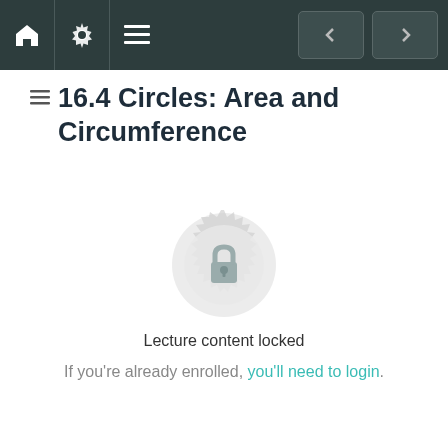Navigation bar with home, settings, menu icons and back/forward arrows
16.4 Circles: Area and Circumference
[Figure (illustration): A circular badge/medallion with decorative edges and a padlock icon in the center, indicating locked content]
Lecture content locked
If you're already enrolled, you'll need to login.